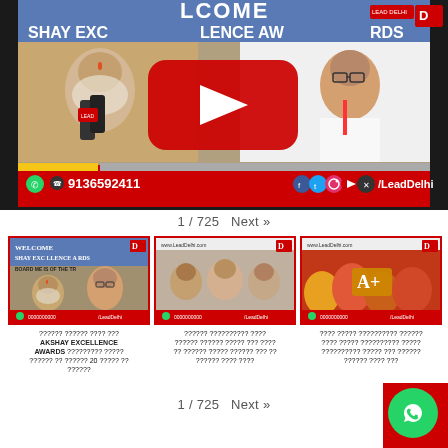[Figure (screenshot): YouTube video thumbnail showing two men at Akshay Excellence Awards event with YouTube play button overlay and LeadDelhi branding. Bottom bar shows WhatsApp number 9136592411 and social media icons /LeadDelhi]
1 / 725   Next »
[Figure (screenshot): Thumbnail 1: Two men at WELCOME SHAY EXCELLENCE AWARDS BOARD MEMBERS event]
?????? ?????? ???? ??? AKSHAY EXCELLENCE AWARDS ????????? ????? ?????? ?? ?????? 20 ????? ?? ??????
[Figure (screenshot): Thumbnail 2: Three men posing together at an event]
?????? ?????????? ???? ?????? ?????? ????? ??? ???? ?? ?????? ????? ?????? ??? ?? ?????? ???? ????
[Figure (screenshot): Thumbnail 3: Festive crowd scene with A+ branding]
???? ????? ?????????? ?????? ???? ????? ?????????? ????? ?????????? ????? ??? ?????? ?????? ???? ???
1 / 725   Next »